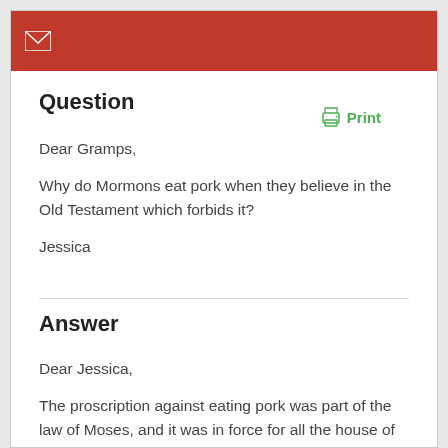[Figure (other): Red header bar with white mail envelope icon]
Question
Dear Gramps,
Why do Mormons eat pork when they believe in the Old Testament which forbids it?
Jessica
Answer
Dear Jessica,
The proscription against eating pork was part of the law of Moses, and it was in force for all the house of Israel until it